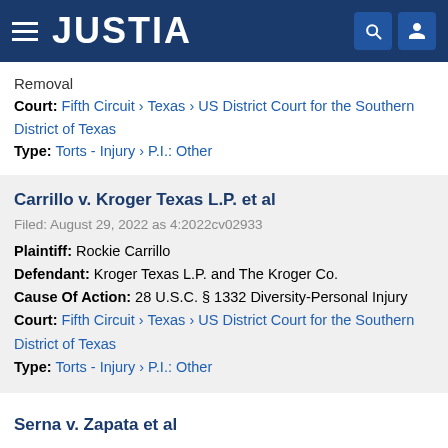JUSTIA
Removal
Court: Fifth Circuit › Texas › US District Court for the Southern District of Texas
Type: Torts - Injury › P.I.: Other
Carrillo v. Kroger Texas L.P. et al
Filed: August 29, 2022 as 4:2022cv02933
Plaintiff: Rockie Carrillo
Defendant: Kroger Texas L.P. and The Kroger Co.
Cause Of Action: 28 U.S.C. § 1332 Diversity-Personal Injury
Court: Fifth Circuit › Texas › US District Court for the Southern District of Texas
Type: Torts - Injury › P.I.: Other
Serna v. Zapata et al